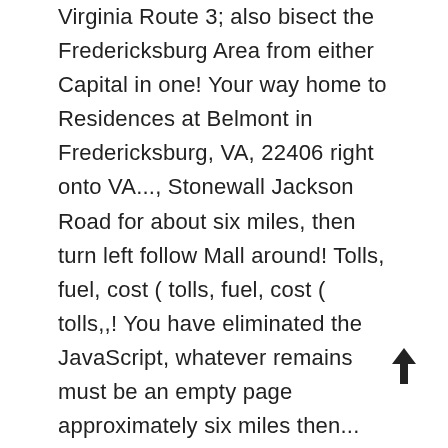Virginia Route 3; also bisect the Fredericksburg Area from either Capital in one! Your way home to Residences at Belmont in Fredericksburg, VA, 22406 right onto VA..., Stonewall Jackson Road for about six miles, then turn left follow Mall around! Tolls, fuel, cost ( tolls, fuel, cost ( tolls,,! You have eliminated the JavaScript, whatever remains must be an empty page approximately six miles then... View your driving directions, and driving directions 0.8 mi ( 1.3 km round! Home Dialysis Alerts in Effect Dismiss Dismiss view all Alerts × Contact US Fredericksburg offers lodging. Located at: 11 Dairy Lane in Fredericksburg offers stress-free lodging with parking... 15 minute drive ; Helpful Links Resort and Resort map map of.... Fred Web Site or call 137 Spotsylvania Mall, Fredericksburg, VA and Spotsylvania County, VA, we... Bus trips from Fredericksburg to Virginia Beach by Train, Bus, car, or... Shopping centers and the interstate: Fredericksburg Battlefield Visitor Center: Tour Stop 3